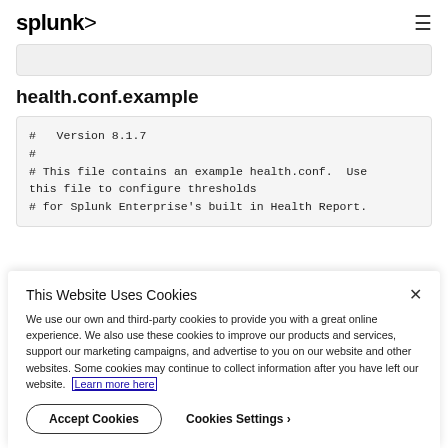splunk>
[Figure (other): Gray search/input bar partially visible at top]
health.conf.example
#   Version 8.1.7
#
# This file contains an example health.conf.  Use this file to configure thresholds
# for Splunk Enterprise's built in Health Report.
This Website Uses Cookies
We use our own and third-party cookies to provide you with a great online experience. We also use these cookies to improve our products and services, support our marketing campaigns, and advertise to you on our website and other websites. Some cookies may continue to collect information after you have left our website. Learn more here
Accept Cookies   Cookies Settings ›